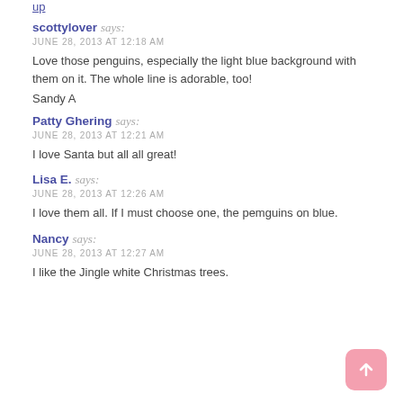scottylover says:
JUNE 28, 2013 AT 12:18 AM
Love those penguins, especially the light blue background with them on it. The whole line is adorable, too!
Sandy A
Patty Ghering says:
JUNE 28, 2013 AT 12:21 AM
I love Santa but all all great!
Lisa E. says:
JUNE 28, 2013 AT 12:26 AM
I love them all. If I must choose one, the pemguins on blue.
Nancy says:
JUNE 28, 2013 AT 12:27 AM
I like the Jingle white Christmas trees.